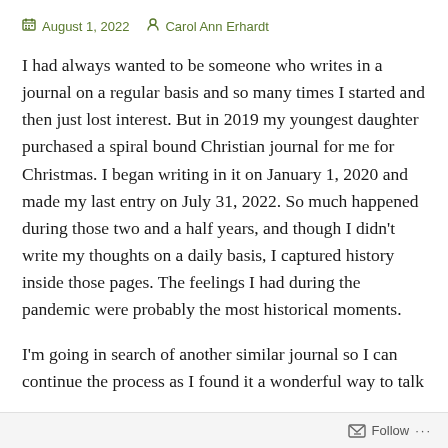August 1, 2022   Carol Ann Erhardt
I had always wanted to be someone who writes in a journal on a regular basis and so many times I started and then just lost interest. But in 2019 my youngest daughter purchased a spiral bound Christian journal for me for Christmas. I began writing in it on January 1, 2020 and made my last entry on July 31, 2022. So much happened during those two and a half years, and though I didn't write my thoughts on a daily basis, I captured history inside those pages. The feelings I had during the pandemic were probably the most historical moments.
I'm going in search of another similar journal so I can continue the process as I found it a wonderful way to talk
Follow